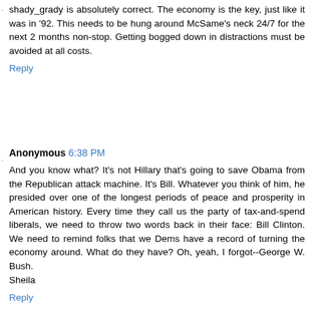shady_grady is absolutely correct. The economy is the key, just like it was in '92. This needs to be hung around McSame's neck 24/7 for the next 2 months non-stop. Getting bogged down in distractions must be avoided at all costs.
Reply
Anonymous 6:38 PM
And you know what? It's not Hillary that's going to save Obama from the Republican attack machine. It's Bill. Whatever you think of him, he presided over one of the longest periods of peace and prosperity in American history. Every time they call us the party of tax-and-spend liberals, we need to throw two words back in their face: Bill Clinton. We need to remind folks that we Dems have a record of turning the economy around. What do they have? Oh, yeah, I forgot--George W. Bush.
Sheila
Reply